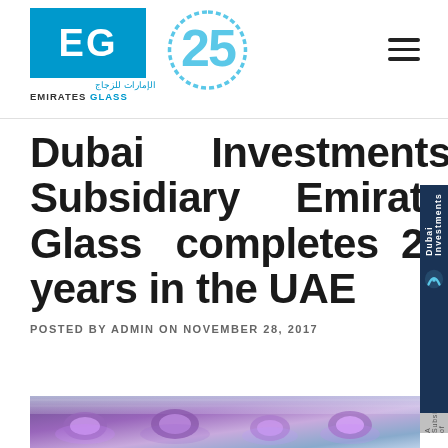[Figure (logo): Emirates Glass logo: blue EG box with Arabic text and EMIRATES GLASS text below, plus 25th anniversary mark in light blue]
Dubai Investments Subsidiary Emirates Glass completes 25 years in the UAE
POSTED BY ADMIN ON NOVEMBER 28, 2017
[Figure (photo): Partial view of a decorative interior space with purple/violet ceiling lights]